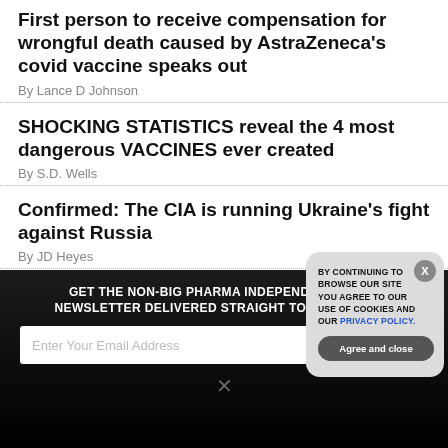First person to receive compensation for wrongful death caused by AstraZeneca's covid vaccine speaks out
By Lance D Johnson
SHOCKING STATISTICS reveal the 4 most dangerous VACCINES ever created
By S.D. Wells
Confirmed: The CIA is running Ukraine's fight against Russia
By JD Heyes
GET THE NON-BIG PHARMA INDEPENDENT MEDIA NEWSLETTER DELIVERED STRAIGHT TO YOUR INBOX.
Enter Your Email Address
SUBSCRIBE
[Figure (screenshot): Cookie consent modal overlay with text: BY CONTINUING TO BROWSE OUR SITE YOU AGREE TO OUR USE OF COOKIES AND OUR PRIVACY POLICY. with an Agree and close button and an X close button.]